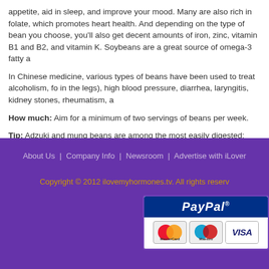appetite, aid in sleep, and improve your mood. Many are also rich in folate, which promotes heart health. And depending on the type of bean you choose, you'll also get decent amounts of iron, zinc, vitamin B1 and B2, and vitamin K. Soybeans are a great source of omega-3 fatty acids.
In Chinese medicine, various types of beans have been used to treat alcoholism, food poisoning, edema (in the legs), high blood pressure, diarrhea, laryngitis, kidney stones, rheumatism, and other ailments.
How much: Aim for a minimum of two servings of beans per week.
Tip: Adzuki and mung beans are among the most easily digested; pinto, kidney, navy, and black beans are more difficult to digest.
About Us | Company Info | Newsroom | Advertise with iLove...
Copyright © 2012 ilovemyhormones.tv. All rights reserved.
[Figure (logo): PayPal payment accepted badge showing PayPal logo and MasterCard, Maestro, and Visa card logos]